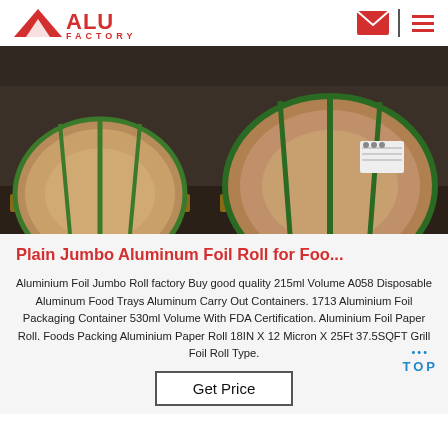ALU FACTORY
[Figure (photo): Large rolls of aluminum foil wrapped in brown paper and secured with green straps, stacked on wooden pallets in an industrial warehouse.]
Plain Jumbo Aluminum Foil Roll for Foo...
Aluminium Foil Jumbo Roll factory Buy good quality 215ml Volume A058 Disposable Aluminum Food Trays Aluminum Carry Out Containers. 1713 Aluminium Foil Packaging Container 530ml Volume With FDA Certification. Aluminium Foil Paper Roll. Foods Packing Aluminium Paper Roll 18IN X 12 Micron X 25Ft 37.5SQFT Grill Foil Roll Type.